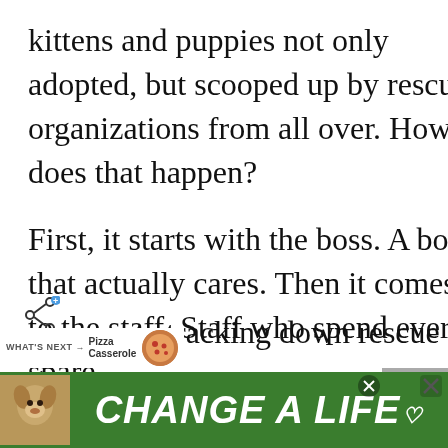kittens and puppies not only adopted, but scooped up by rescue organizations from all over. How does that happen?
First, it starts with the boss. A boss that actually cares. Then it comes to the staff. Staff who spend every spare minute tracking down rescue groups, [transportation]. They do everything they possibly can to not [euthanize].
[Figure (screenshot): Share icon overlay and 'WHAT'S NEXT' Pizza Casserole widget overlaid on the article text]
[Figure (infographic): Green advertisement banner at the bottom reading 'CHANGE A LIFE' with a dog photo, close buttons, and heart icon]